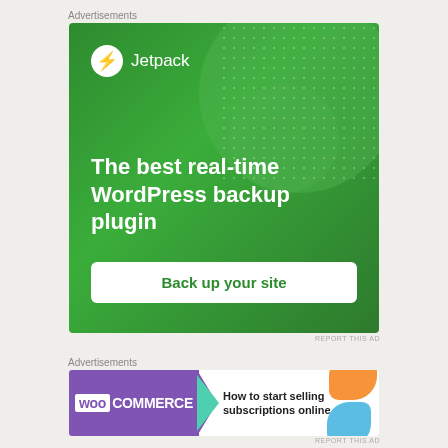Advertisements
[Figure (illustration): Jetpack advertisement banner with green background. Shows Jetpack logo with lightning bolt icon and text 'The best real-time WordPress backup plugin' and a 'Back up your site' button.]
REPORT THIS AD
It's so easy to turn our lives into one big pissing
(blurred continuation text)
Advertisements
[Figure (illustration): WooCommerce advertisement banner showing purple WooCommerce logo with teal arrow and text 'How to start selling subscriptions online' with orange and blue decorative blobs.]
REPORT THIS AD